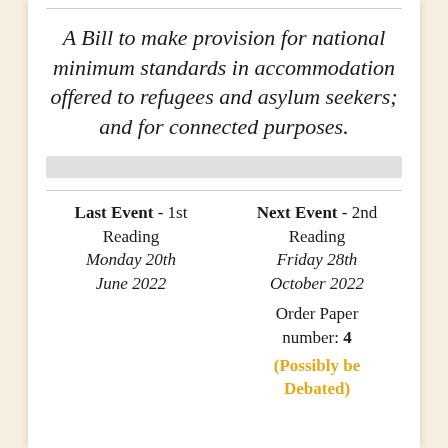A Bill to make provision for national minimum standards in accommodation offered to refugees and asylum seekers; and for connected purposes.
Last Event - 1st Reading Monday 20th June 2022
Next Event - 2nd Reading Friday 28th October 2022 Order Paper number: 4 (Possibly be Debated)